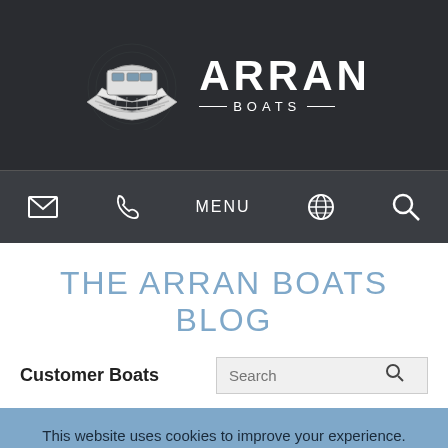[Figure (logo): Arran Boats logo with boat illustration and brand name text on dark background]
MENU navigation bar with email, phone, globe, and search icons
THE ARRAN BOATS BLOG
Customer Boats
This website uses cookies to improve your experience. We'll assume you're ok with this, but you can opt-out if you wish. Accept Reject Read More